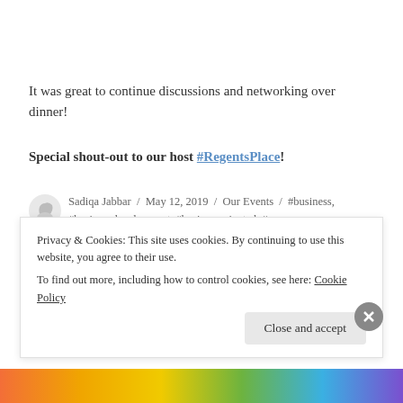It was great to continue discussions and networking over dinner!
Special shout-out to our host #RegentsPlace!
Sadiqa Jabbar / May 12, 2019 / Our Events / #business, #businessdevelopment, #businessoriented, #career, #careerdevelopment, #develop, #entrepreneur, #eventseries, #femalerolemodels, #learn, #muslimrolemodels, #network, #networking, #owningourownvoices,
Privacy & Cookies: This site uses cookies. By continuing to use this website, you agree to their use.
To find out more, including how to control cookies, see here: Cookie Policy
Close and accept